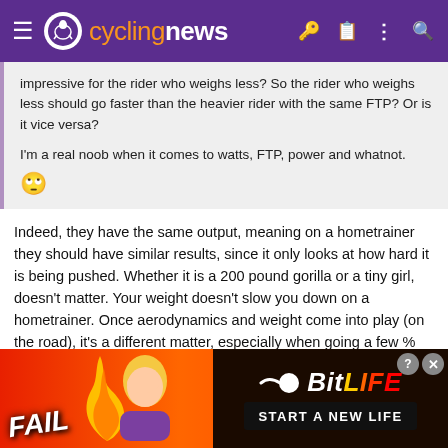cyclingnews
impressive for the rider who weighs less? So the rider who weighs less should go faster than the heavier rider with the same FTP? Or is it vice versa?

I'm a real noob when it comes to watts, FTP, power and whatnot. 🙄
Indeed, they have the same output, meaning on a hometrainer they should have similar results, since it only looks at how hard it is being pushed. Whether it is a 200 pound gorilla or a tiny girl, doesn't matter. Your weight doesn't slow you down on a hometrainer. Once aerodynamics and weight come into play (on the road), it's a different matter, especially when going a few % uphill. I think Victor weighs +/- 8kg more than Remco. Most of that will be muscle. So, for Remco to be able to push the same numbers is impressive. On the other hand, if Victor wants to lose weight, he will need to lose...
[Figure (screenshot): BitLife advertisement banner with FAIL text, animated character, flame graphics, sperm logo, and START A NEW LIFE text]